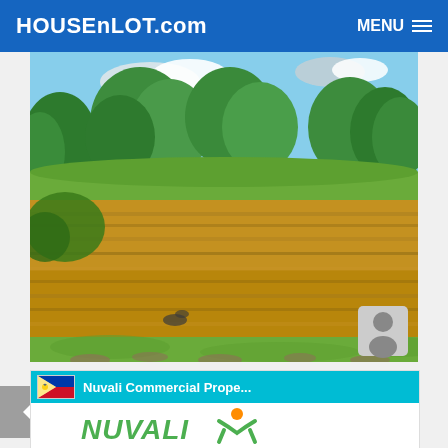HOUSEnLOT.com  MENU
[Figure (photo): Outdoor landscape photo showing a vacant lot with dry brown grass and weeds in the foreground, and lush green trees in the background under a partly cloudy blue sky. A small person silhouette/profile icon appears in the bottom-right corner of the photo.]
[Figure (logo): Nuvali Commercial Prope... listing card showing the Nuvali brand logo with green stylized human figure and orange dot, and green italic NUVALI text.]
Nuvali Commercial Prope...